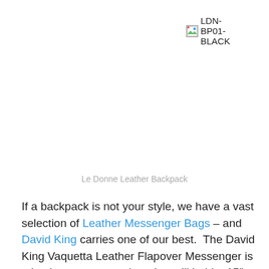[Figure (photo): Broken image placeholder labeled LDN-BP01-BLACK]
Le Donne Leather Backpack
If a backpack is not your style, we have a vast selection of Leather Messenger Bags – and David King carries one of our best.  The David King Vaquetta Leather Flapover Messenger is a leather messenger bag that will hold a 15″ laptop securely as well as other important documents.